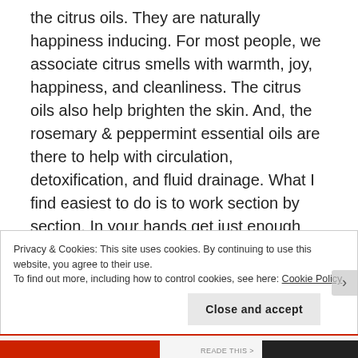the citrus oils. They are naturally happiness inducing. For most people, we associate citrus smells with warmth, joy, happiness, and cleanliness. The citrus oils also help brighten the skin. And, the rosemary & peppermint essential oils are there to help with circulation, detoxification, and fluid drainage. What I find easiest to do is to work section by section. In your hands get just enough argan or coconut oil or body lotion, add a few drops of each essential oil, then work it into your skin. For my skin & body long circular motions seem to work the best. I'll do one thigh, then the other, then each calf
Privacy & Cookies: This site uses cookies. By continuing to use this website, you agree to their use.
To find out more, including how to control cookies, see here: Cookie Policy